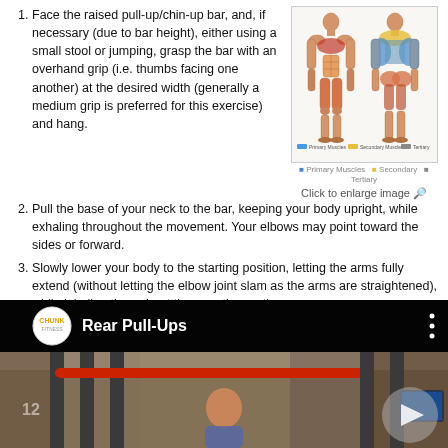Face the raised pull-up/chin-up bar, and, if necessary (due to bar height), either using a small stool or jumping, grasp the bar with an overhand grip (i.e. thumbs facing one another) at the desired width (generally a medium grip is preferred for this exercise) and hang.
[Figure (illustration): Front and back anatomical muscle diagram showing primary, secondary, and tertiary muscles used in the exercise. Color-coded legend at bottom.]
Click to enlarge image
Pull the base of your neck to the bar, keeping your body upright, while exhaling throughout the movement. Your elbows may point toward the sides or forward.
Slowly lower your body to the starting position, letting the arms fully extend (without letting the elbow joint slam as the arms are straightened), while inhaling throughout the negative motion.
Repeat steps 2-3 for as many repetitions as are desired.
[Figure (screenshot): Video thumbnail showing a gym setting with a person doing rear pull-ups on a rack with a red bar. CHUNK Fitness logo and title 'Rear Pull-Ups' displayed in top bar.]